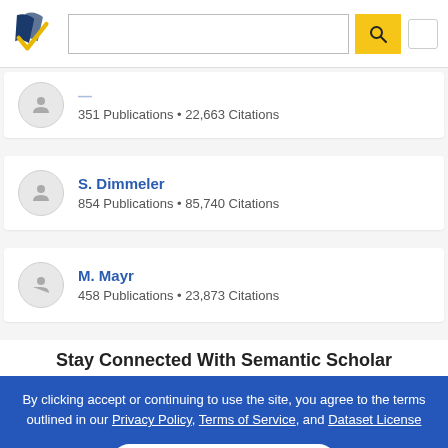[Figure (screenshot): Semantic Scholar website header with logo, search bar, search button, and menu button]
351 Publications • 22,663 Citations
S. Dimmeler
854 Publications • 85,740 Citations
M. Mayr
458 Publications • 23,873 Citations
Stay Connected With Semantic Scholar
By clicking accept or continuing to use the site, you agree to the terms outlined in our Privacy Policy, Terms of Service, and Dataset License
ACCEPT & CONTINUE